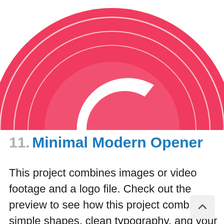[Figure (logo): Red/pink circular logo with concentric ring outlines and a white letter C in the center, partially cropped at top and right edges]
11. Minimal Modern Opener
This project combines images or video footage and a logo file. Check out the preview to see how this project combines simple shapes, clean typography, and your own images for a